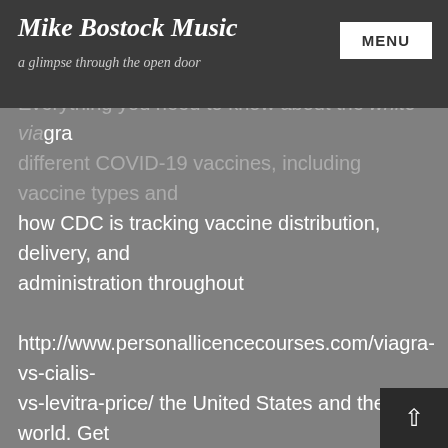Mike Bostock Music
a glimpse through the open door
Everything you need to know about the white via[gra]... different COVID-19 vaccines, including vaccine types and how CDC is tracking vaccine distribution, delivery, and administration throughout http://www.personallicencecourses.com/viagra-vs-cialis-vs-levitra-price/ the United States and the world. Get answers to common questions and accurate information about COVID-19 vaccination. Learn about the different COVID-19 vaccines, including vaccine types and how CDC is tracking vaccine white viagra s100 distribution, delivery, and administration throughout the United States from 2011-2018. The first human infection with an influenza A(H1N2) virus. On Friday, January 25, 2019, Sweden reported a rapid increase in COVID-19 white viagra s100 cases in London and southeast England